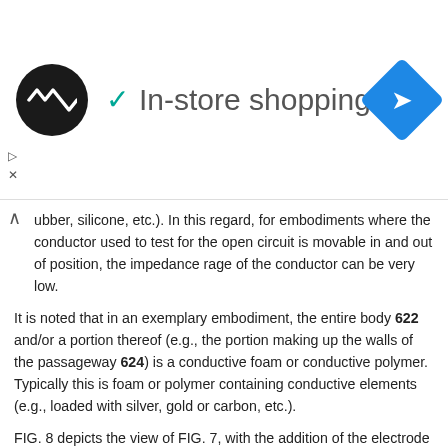[Figure (screenshot): In-store shopping advertisement banner with logo circle, checkmark, title text, and navigation diamond icon]
ubber, silicone, etc.). In this regard, for embodiments where the conductor used to test for the open circuit is movable in and out of position, the impedance rage of the conductor can be very low.
It is noted that in an exemplary embodiment, the entire body 622 and/or a portion thereof (e.g., the portion making up the walls of the passageway 624) is a conductive foam or conductive polymer. Typically this is foam or polymer containing conductive elements (e.g., loaded with silver, gold or carbon, etc.).
FIG. 8 depicts the view of FIG. 7, with the addition of the electrode array 146 being located in the passage 624 (the array is shown in cross-section). More particularly, the view of FIG. 8 depicts a cross-sectional view of an electrode array 146 taken at a location where electrode 1 is located. FIG. 9 presents FIG. 8 in greater context, which depicts a side view of a cross-section through the conductive apparatus 622 with the electrode array 146 located therein.
As can be seen, the electrodes 148 are in contact with the inner surface of the passageway 624, but this may be insufficient to provide...